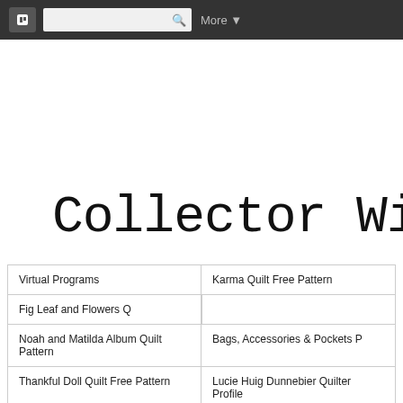Blogger navigation bar with search and More menu
Collector With A
Virtual Programs | Karma Quilt Free Pattern | Fig Leaf and Flowers Q... | Noah and Matilda Album Quilt Pattern | Bags, Accessories & Pockets P... | Thankful Doll Quilt Free Pattern | Lucie Huig Dunnebier Quilter Profile
Tuesday, July 22, 2014